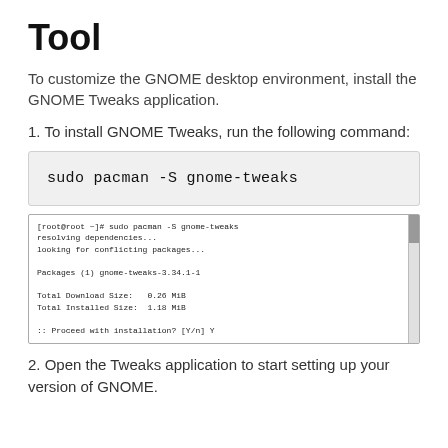Tool
To customize the GNOME desktop environment, install the GNOME Tweaks application.
1. To install GNOME Tweaks, run the following command:
sudo pacman -S gnome-tweaks
[Figure (screenshot): Terminal output showing: [root@root ~]# sudo pacman -S gnome-tweaks
resolving dependencies...
looking for conflicting packages...

Packages (1) gnome-tweaks-3.34.1-1

Total Download Size:   0.26 MiB
Total Installed Size:  1.18 MiB

:: Proceed with installation? [Y/n] Y]
2. Open the Tweaks application to start setting up your version of GNOME.